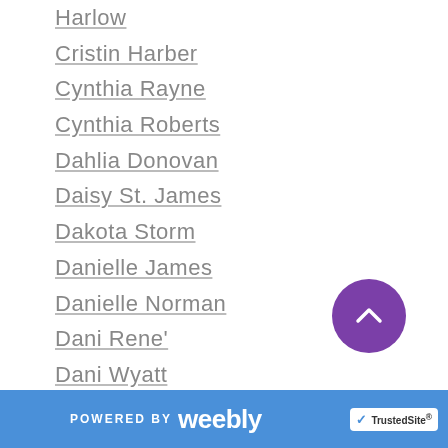Harlow
Cristin Harber
Cynthia Rayne
Cynthia Roberts
Dahlia Donovan
Daisy St. James
Dakota Storm
Danielle James
Danielle Norman
Dani Rene'
Dani Wyatt
Darcy Burke
Daryl Banner
David Romanov
Dawn Robertson
Debbie McGowan
Dee Aditya
[Figure (other): Purple circular scroll-to-top button with upward chevron arrow]
POWERED BY weebly  TrustedSite